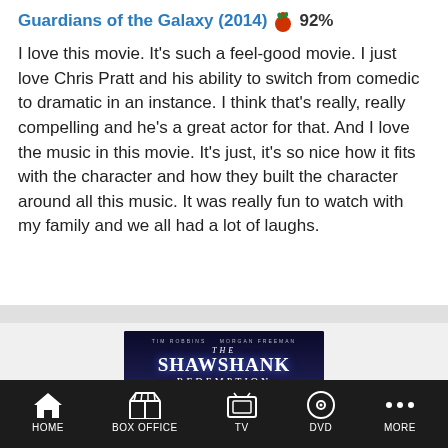Guardians of the Galaxy (2014) 🍅 92%
I love this movie. It's such a feel-good movie. I just love Chris Pratt and his ability to switch from comedic to dramatic in an instance. I think that's really, really compelling and he's a great actor for that. And I love the music in this movie. It's just, it's so nice how it fits with the character and how they built the character around all this music. It was really fun to watch with my family and we all had a lot of laughs.
[Figure (photo): Movie poster for The Shawshank Redemption featuring Tim Robbins and Morgan Freeman]
HOME | BOX OFFICE | TV | DVD | MORE